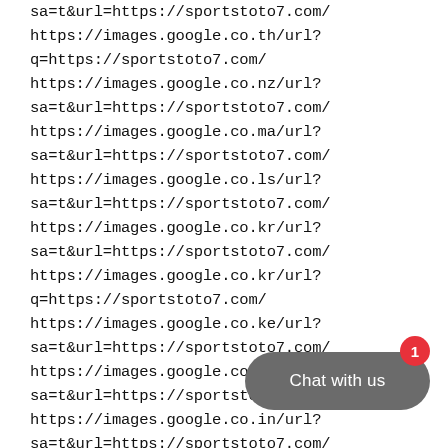sa=t&url=https://sportstoto7.com/
https://images.google.co.th/url?
q=https://sportstoto7.com/
https://images.google.co.nz/url?
sa=t&url=https://sportstoto7.com/
https://images.google.co.ma/url?
sa=t&url=https://sportstoto7.com/
https://images.google.co.ls/url?
sa=t&url=https://sportstoto7.com/
https://images.google.co.kr/url?
sa=t&url=https://sportstoto7.com/
https://images.google.co.kr/url?
q=https://sportstoto7.com/
https://images.google.co.ke/url?
sa=t&url=https://sportstoto7.com/
https://images.google.co.jp/url?
sa=t&url=https://sportstoto7.com/
https://images.google.co.in/url?
sa=t&url=https://sportstoto7.com/
https://images.google.co.il/url?
sa=t&url=https://sportstoto7.com/
https://images.google.co.id/url?
sa=t&url=https://sportstoto7.com/
[Figure (other): Dark gray rounded rectangle button with white text 'Chat with us' and a red circle badge with number 1 in the bottom-right corner of the page.]